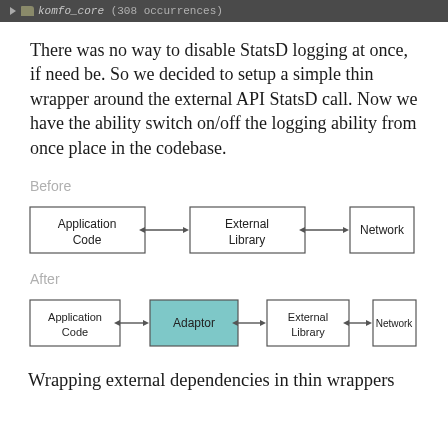komfo_core (308 occurrences)
There was no way to disable StatsD logging at once, if need be. So we decided to setup a simple thin wrapper around the external API StatsD call. Now we have the ability switch on/off the logging ability from once place in the codebase.
Before
[Figure (flowchart): Before diagram: Application Code box connected via double-headed arrow to External Library box, connected via double-headed arrow to Network box]
After
[Figure (flowchart): After diagram: Application Code box connected via double-headed arrow to Adaptor box (teal/green fill), connected via double-headed arrow to External Library box, connected via double-headed arrow to Network box]
Wrapping external dependencies in thin wrappers